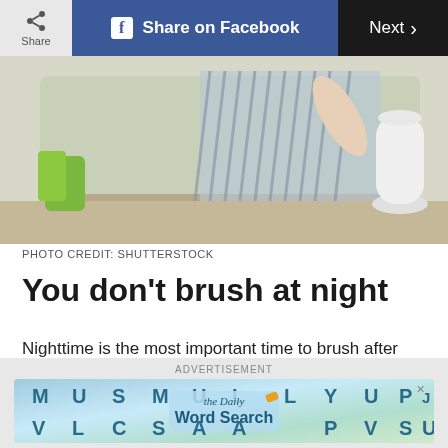Share | Share on Facebook | Next
[Figure (photo): Woman brushing teeth in front of a mirror, bathroom setting with white vase and green items visible]
PHOTO CREDIT: SHUTTERSTOCK
You don’t brush at night
Nighttime is the most important time to brush after your morning brush. “You are eating all day long, so if you’re not brushing at night, this can lead to future dental problems,” Dr. Shtivelman says.
[Figure (screenshot): Advertisement banner for The Daily Word Search game, featuring letter grid tiles and logo]